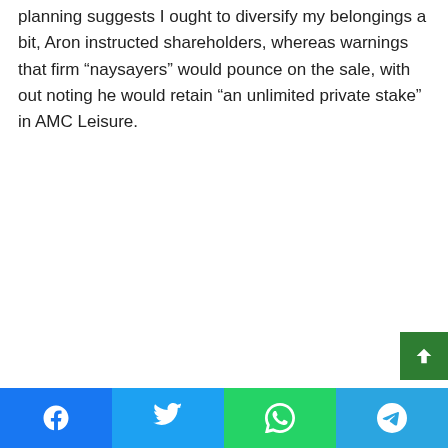planning suggests I ought to diversify my belongings a bit, Aron instructed shareholders, whereas warnings that firm “naysayers” would pounce on the sale, with out noting he would retain “an unlimited private stake” in AMC Leisure.
Facebook | Twitter | WhatsApp | Telegram